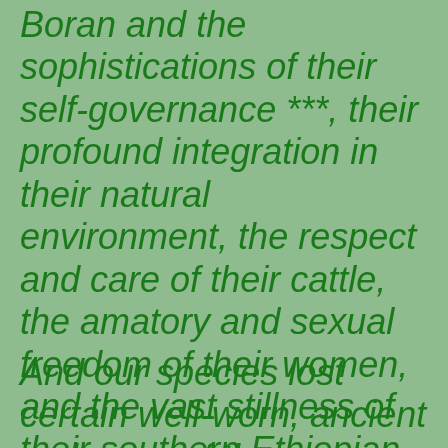Boran and the sophistications of their self-governance ***, their profound integration in their natural environment, the respect and care of their cattle,  the amatory and sexual freedom of their women, and the vast stillness of their southern Ethiopian skies.
And our species lost certain well-worn, ancient pathways of the...